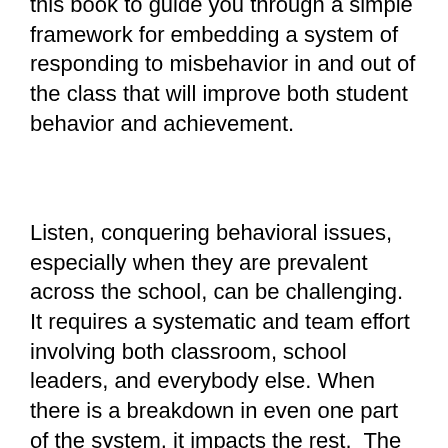this book to guide you through a simple framework for embedding a system of responding to misbehavior in and out of the class that will improve both student behavior and achievement.
Listen, conquering behavioral issues, especially when they are prevalent across the school, can be challenging. It requires a systematic and team effort involving both classroom, school leaders, and everybody else. When there is a breakdown in even one part of the system, it impacts the rest. The